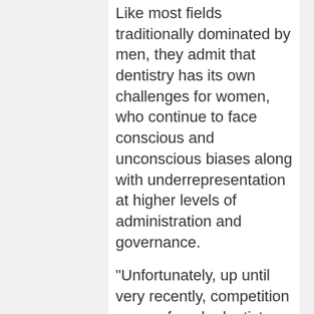Like most fields traditionally dominated by men, they admit that dentistry has its own challenges for women, who continue to face conscious and unconscious biases along with underrepresentation at higher levels of administration and governance.
"Unfortunately, up until very recently, competition among female dentists has been fierce due to the select few opportunities available to us," said Jill.
Despite the hurdles, they believe substantial strides are being